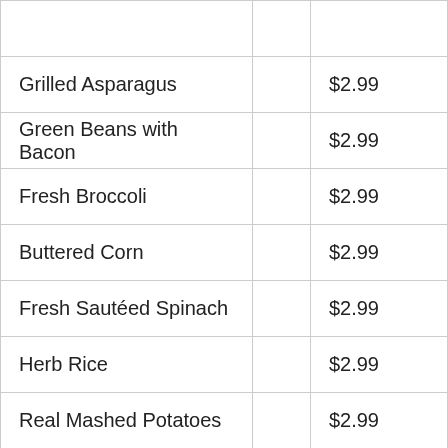| Item |  | Price |
| --- | --- | --- |
| Grilled Asparagus |  | $2.99 |
| Green Beans with Bacon |  | $2.99 |
| Fresh Broccoli |  | $2.99 |
| Buttered Corn |  | $2.99 |
| Fresh Sautéed Spinach |  | $2.99 |
| Herb Rice |  | $2.99 |
| Real Mashed Potatoes |  | $2.99 |
| French Fries |  | $2.99 |
| Tots |  | $2.99 |